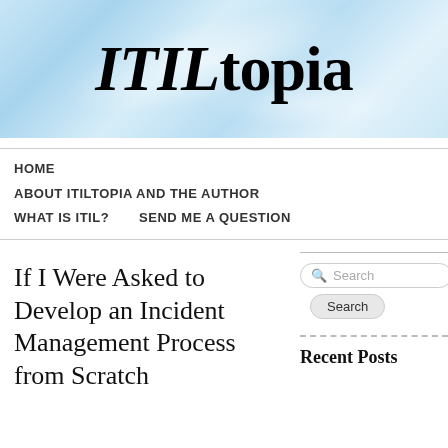[Figure (logo): ITILtopia website header banner with light blue gradient background and site title 'ITILtopia' in large bold serif font]
HOME
ABOUT ITILTOPIA AND THE AUTHOR
WHAT IS ITIL?    SEND ME A QUESTION
If I Were Asked to Develop an Incident Management Process from Scratch
Search
Search
Recent Posts